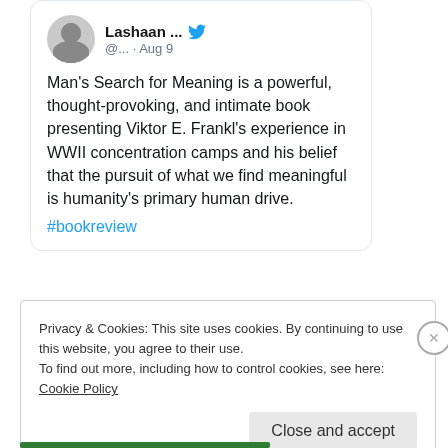[Figure (screenshot): Tweet card with user avatar (photo of a bearded man), username 'Lashaan ...' with Twitter bird icon, handle '@... · Aug 9']
Man's Search for Meaning is a powerful, thought-provoking, and intimate book presenting Viktor E. Frankl's experience in WWII concentration camps and his belief that the pursuit of what we find meaningful is humanity's primary human drive.
#bookreview
Privacy & Cookies: This site uses cookies. By continuing to use this website, you agree to their use.
To find out more, including how to control cookies, see here:
Cookie Policy
Close and accept